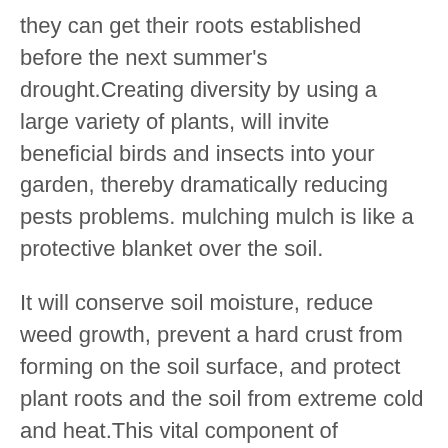they can get their roots established before the next summer's drought.Creating diversity by using a large variety of plants, will invite beneficial birds and insects into your garden, thereby dramatically reducing pests problems. mulching mulch is like a protective blanket over the soil.
It will conserve soil moisture, reduce weed growth, prevent a hard crust from forming on the soil surface, and protect plant roots and the soil from extreme cold and heat.This vital component of xeriscape gardening can be used in any existing landscape. Be sure to weed and water thoroughly before mulching. Organic mulches such as compost and well-rotted manure also build up the soil and feed plants so chemical fertilizers are unnecessary. Rock mulches intensify heat around plants and your home. They make it difficult to weed and clean